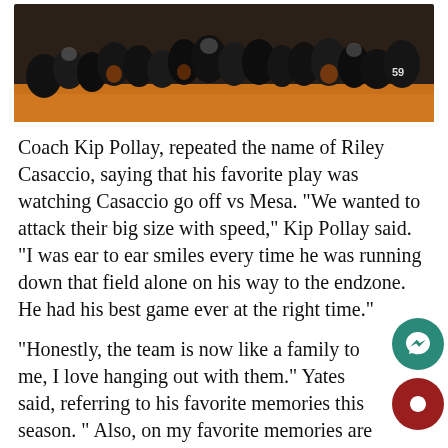[Figure (photo): Group photo of a football team in dark uniforms posing on a field, player number 59 visible on right side]
Coach Kip Pollay, repeated the name of Riley Casaccio, saying that his favorite play was watching Casaccio go off vs Mesa. “We wanted to attack their big size with speed,” Kip Pollay said. “I was ear to ear smiles every time he was running down that field alone on his way to the endzone. He had his best game ever at the right time.”
“Honestly, the team is now like a family to me, I love hanging out with them.” Yates said, referring to his favorite memories this season. “ Also, one of my favorite memories are all the interceptions I had, like one per game.” Yates said. “It feels good because you feel like you are helping the team.”